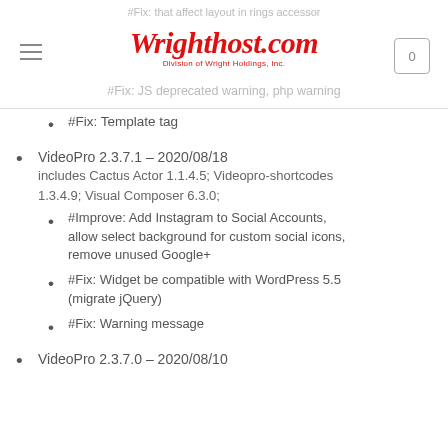Wrighthost.com — Division of Wright Holdings, Inc.
#Fix: JS deprecated warning, php warning
#Fix: Template tag
VideoPro 2.3.7.1 – 2020/08/18 includes Cactus Actor 1.1.4.5; Videopro-shortcodes 1.3.4.9; Visual Composer 6.3.0;
#Improve: Add Instagram to Social Accounts, allow select background for custom social icons, remove unused Google+
#Fix: Widget be compatible with WordPress 5.5 (migrate jQuery)
#Fix: Warning message
VideoPro 2.3.7.0 – 2020/08/10